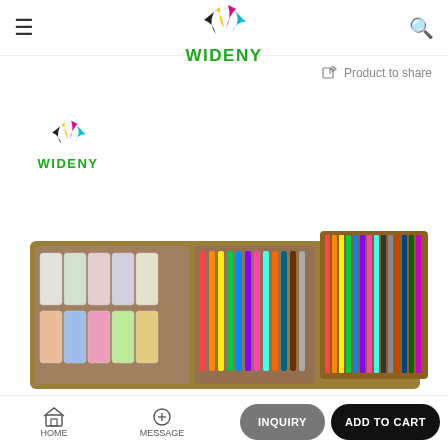[Figure (logo): WIDENY logo with colorful feather/wing marks in yellow, magenta, black, cyan above the text WIDENY in green, top center navigation area]
[Figure (logo): WIDENY logo smaller version, same design, positioned top-left of content area]
Product to share
[Figure (photo): Open wooden art supply box containing paint tubes, markers, colored pencils arranged in compartments]
HOME   MESSAGE   INQUIRY   ADD TO CART